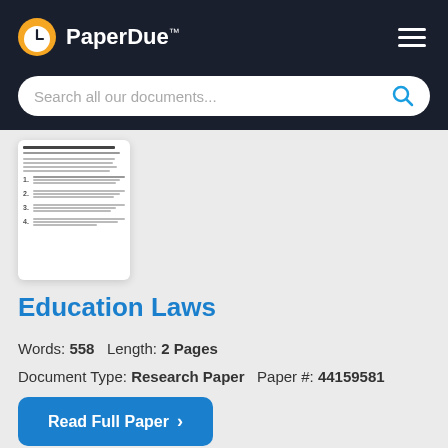PaperDue™
[Figure (screenshot): Search bar with placeholder text 'Search all our documents...' and a blue search icon on the right]
[Figure (screenshot): Document thumbnail preview showing a white paper with lines of text]
Education Laws
Words: 558   Length: 2 Pages
Document Type: Research Paper   Paper #: 44159581
Read Full Paper ›
educational laws that has been signed by the U.S.